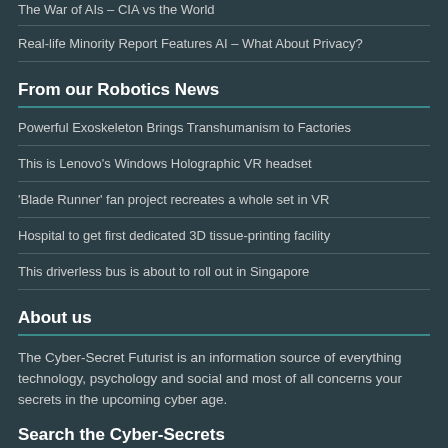The War of AIs – CIA vs the World
Real-life Minority Report Features AI – What About Privacy?
From our Robotics News
Powerful Exoskeleton Brings Transhumanism to Factories
This is Lenovo's Windows Holographic VR headset
'Blade Runner' fan project recreates a whole set in VR
Hospital to get first dedicated 3D tissue-printing facility
This driverless bus is about to roll out in Singapore
About us
The Cyber-Secret Futurist is an information source of everything technology, psychology and social and most of all concerns your secrets in the upcoming cyber age.
Search the Cyber-Secrets
To search, type and hit enter